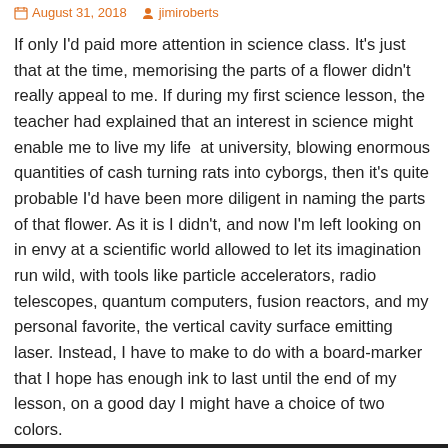August 31, 2018  jimiroberts
If only I'd paid more attention in science class. It's just that at the time, memorising the parts of a flower didn't really appeal to me. If during my first science lesson, the teacher had explained that an interest in science might enable me to live my life  at university, blowing enormous quantities of cash turning rats into cyborgs, then it's quite probable I'd have been more diligent in naming the parts of that flower. As it is I didn't, and now I'm left looking on in envy at a scientific world allowed to let its imagination run wild, with tools like particle accelerators, radio telescopes, quantum computers, fusion reactors, and my personal favorite, the vertical cavity surface emitting laser. Instead, I have to make to do with a board-marker that I hope has enough ink to last until the end of my lesson, on a good day I might have a choice of two colors.